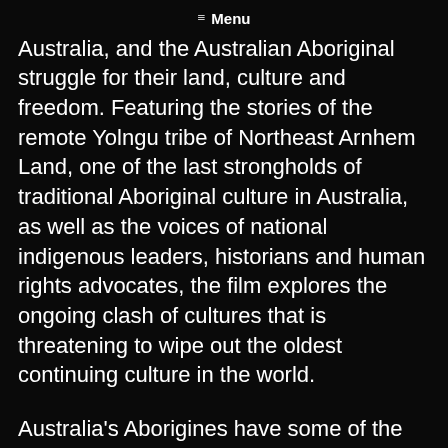≡ Menu
scandal of Indigenous relations in Australia, and the Australian Aboriginal struggle for their land, culture and freedom. Featuring the stories of the remote Yolngu tribe of Northeast Arnhem Land, one of the last strongholds of traditional Aboriginal culture in Australia, as well as the voices of national indigenous leaders, historians and human rights advocates, the film explores the ongoing clash of cultures that is threatening to wipe out the oldest continuing culture in the world.
Australia's Aborigines have some of the worst health statistics and living conditions of any Indigenous group in the world, even though they live in one of its richest countries. Despite the government's National Apology to the Aborigines in 2008, paternalism and assimilation continue to